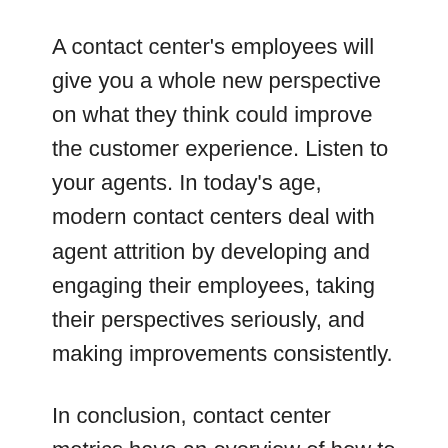A contact center's employees will give you a whole new perspective on what they think could improve the customer experience. Listen to your agents. In today's age, modern contact centers deal with agent attrition by developing and engaging their employees, taking their perspectives seriously, and making improvements consistently.
In conclusion, contact center metrics have an overview of how to deal with customers and deliver and provide excellent customer service training. They are a metric to calculate the level of customer experience with a